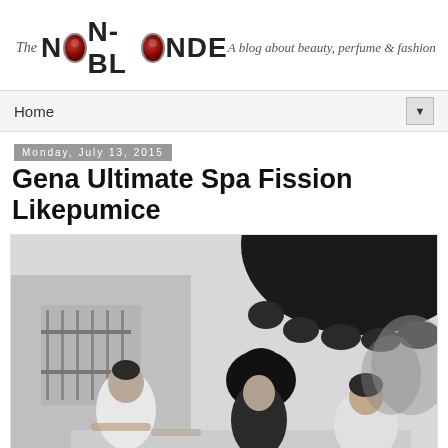The NON-BLONDE — A blog about beauty, perfume & fashion
Home
Monday, July 13, 2015
Gena Ultimate Spa Fission Likepumice
[Figure (photo): Black and white photo of women at an outdoor spa or nail salon, seated at a table under a dark umbrella, with a building and iron fence in the background. One woman appears to be giving a manicure to another.]